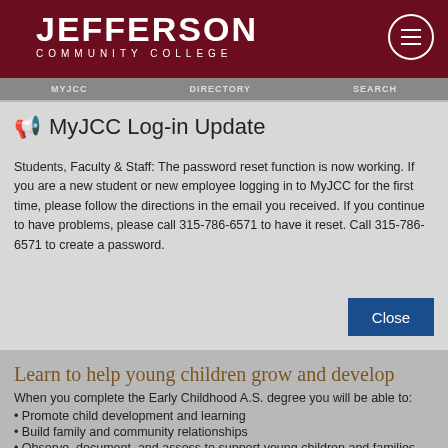JEFFERSON COMMUNITY COLLEGE
MYJCC   DIRECTORY   SEARCH
MyJCC Log-in Update
Students, Faculty & Staff: The password reset function is now working. If you are a new student or new employee logging in to MyJCC for the first time, please follow the directions in the email you received. If you continue to have problems, please call 315-786-6571 to have it reset. Call 315-786-6571 to create a password.
Learn to help young children grow and develop
When you complete the Early Childhood A.S. degree you will be able to:
Promote child development and learning
Build family and community relationships
Observe, document, and assess to support young children and families